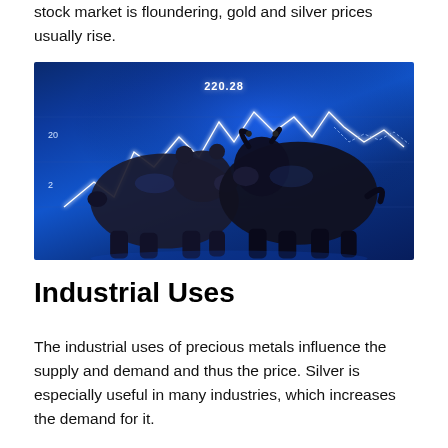stock market is floundering, gold and silver prices usually rise.
[Figure (photo): A metallic bear and bull figurine facing each other in front of a glowing blue stock market chart backdrop with a line chart showing price movement and the number 220.28 displayed at the top.]
Industrial Uses
The industrial uses of precious metals influence the supply and demand and thus the price. Silver is especially useful in many industries, which increases the demand for it.